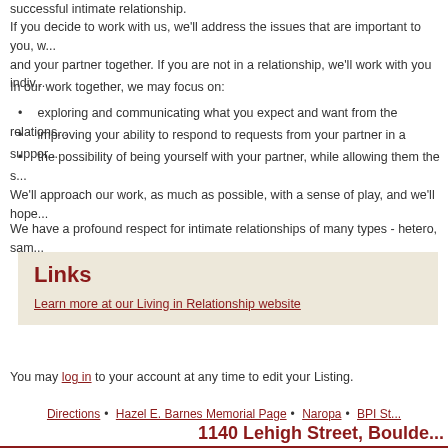successful intimate relationship.
If you decide to work with us, we'll address the issues that are important to you, w... and your partner together. If you are not in a relationship, we'll work with you indiv...
In our work together, we may focus on:
exploring and communicating what you expect and want from the relations...
improving your ability to respond to requests from your partner in a suppor...
the possibility of being yourself with your partner, while allowing them the s...
We'll approach our work, as much as possible, with a sense of play, and we'll hope...
We have a profound respect for intimate relationships of many types - hetero, sam...
Links
Learn more at our Living in Relationship website
You may log in to your account at any time to edit your Listing.
Directions • Hazel E. Barnes Memorial Page • Naropa • BPI St... 1140 Lehigh Street, Boulde...